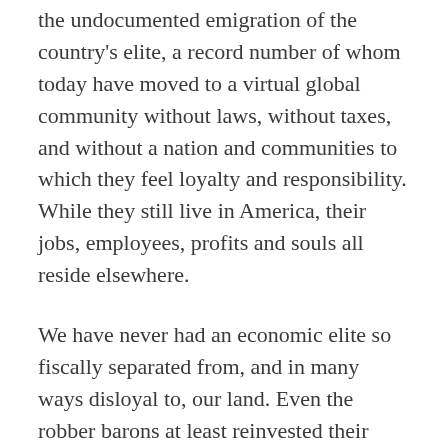the undocumented emigration of the country's elite, a record number of whom today have moved to a virtual global community without laws, without taxes, and without a nation and communities to which they feel loyalty and responsibility. While they still live in America, their jobs, employees, profits and souls all reside elsewhere.
We have never had an economic elite so fiscally separated from, and in many ways disloyal to, our land. Even the robber barons at least reinvested their money in Americans jobs and industry. The defection of our elite has been a major factor in the collapse of the First American Republic.